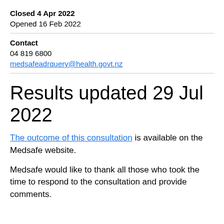Closed 4 Apr 2022
Opened 16 Feb 2022
Contact
04 819 6800
medsafeadrquery@health.govt.nz
Results updated 29 Jul 2022
The outcome of this consultation is available on the Medsafe website.
Medsafe would like to thank all those who took the time to respond to the consultation and provide comments.